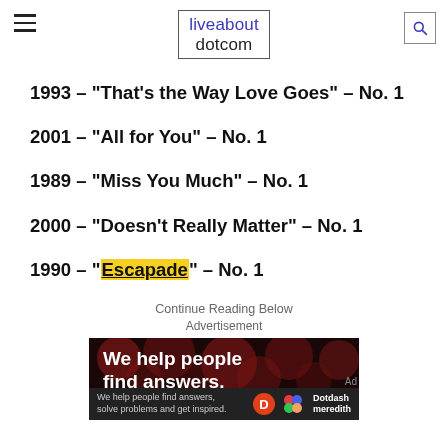liveabout dotcom
1993 - "That's the Way Love Goes" - No. 1
2001 - "All for You" - No. 1
1989 - "Miss You Much" - No. 1
2000 - "Doesn't Really Matter" - No. 1
1990 - "Escapade" - No. 1
Continue Reading Below
Advertisement
[Figure (other): Advertisement banner: dark background with red bokeh circles, text 'We help people find answers.' with Dotdash Meredith branding at the bottom.]